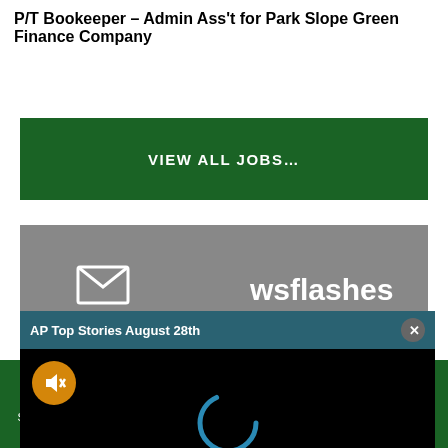P/T Bookeeper – Admin Ass't for Park Slope Green Finance Company
VIEW ALL JOBS…
[Figure (screenshot): Gray area with envelope icon and 'newsflashes' text, overlaid by AP Top Stories August 28th video player popup with loading spinner and mute button]
Sections | NY Edition | Philly | Games | Advertise | Sign Up